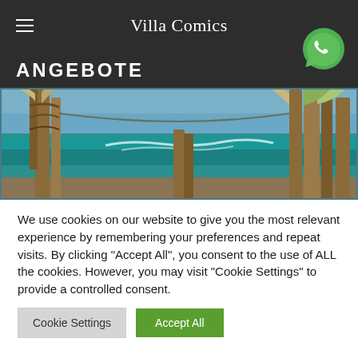Villa Comics
ANGEBOTE
[Figure (photo): Beach scene viewed through wooden posts/dock, turquoise ocean water and sky in background]
We use cookies on our website to give you the most relevant experience by remembering your preferences and repeat visits. By clicking "Accept All", you consent to the use of ALL the cookies. However, you may visit "Cookie Settings" to provide a controlled consent.
Cookie Settings | Accept All